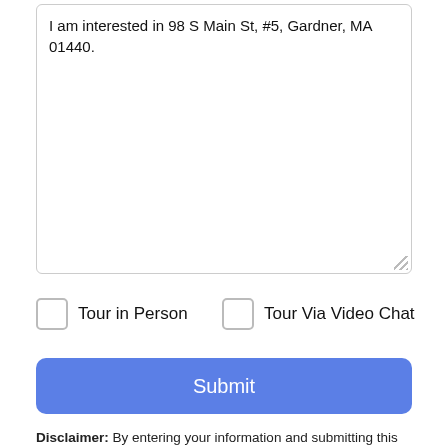I am interested in 98 S Main St, #5, Gardner, MA 01440.
Tour in Person
Tour Via Video Chat
Submit
Disclaimer: By entering your information and submitting this form, you agree to our Terms of Use and Privacy Policy and that you may be contacted by phone, text message and email about your inquiry.
The property listing data and information set forth herein were
Take a Tour
Ask A Question